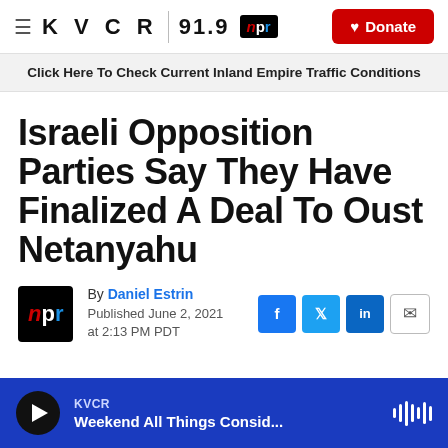KVCR 91.9 NPR | Donate
Click Here To Check Current Inland Empire Traffic Conditions
Israeli Opposition Parties Say They Have Finalized A Deal To Oust Netanyahu
By Daniel Estrin
Published June 2, 2021 at 2:13 PM PDT
KVCR
Weekend All Things Consid...